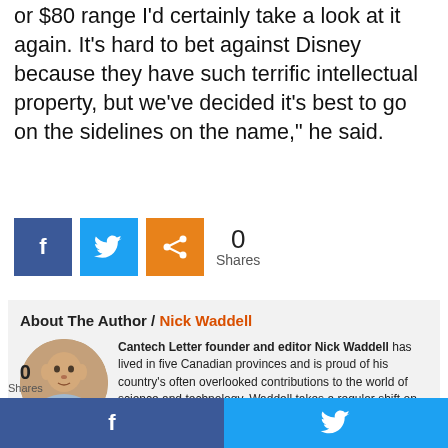or $80 range I'd certainly take a look at it again. It's hard to bet against Disney because they have such terrific intellectual property, but we've decided it's best to go on the sidelines on the name," he said.
[Figure (infographic): Social share buttons: Facebook (blue), Twitter (blue), Share (orange). Share count showing 0 Shares.]
About The Author / Nick Waddell
[Figure (photo): Circular headshot photo of Nick Waddell, a middle-aged man in a light blue shirt.]
Cantech Letter founder and editor Nick Waddell has lived in five Canadian provinces and is proud of his country's often overlooked contributions to the world of science and technology. Waddell takes a regular shift on the Canadian media circuit, making appearances on CTV, CBC and BNN, and co...
[Figure (infographic): Bottom floating share bar with 0 Shares label, Facebook button and Twitter button.]